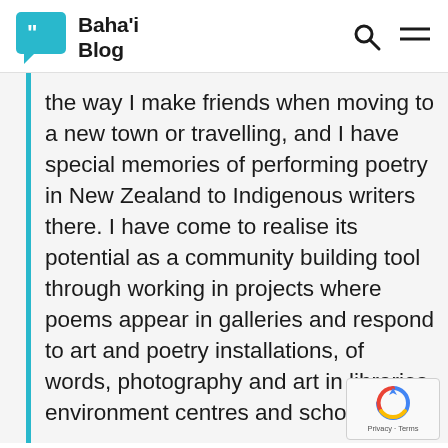Baha'i Blog
the way I make friends when moving to a new town or travelling, and I have special memories of performing poetry in New Zealand to Indigenous writers there. I have come to realise its potential as a community building tool through working in projects where poems appear in galleries and respond to art and poetry installations, of words, photography and art in libraries, environment centres and schools.
Poetry assists me to unpack and